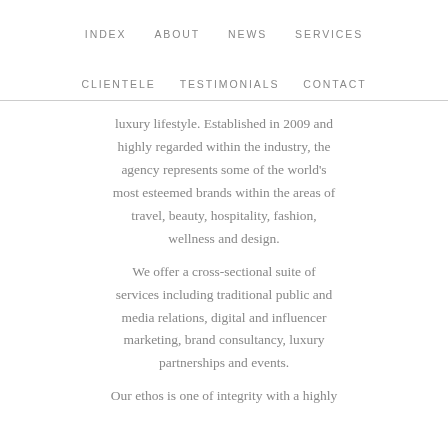INDEX   ABOUT   NEWS   SERVICES
CLIENTELE   TESTIMONIALS   CONTACT
luxury lifestyle. Established in 2009 and highly regarded within the industry, the agency represents some of the world's most esteemed brands within the areas of travel, beauty, hospitality, fashion, wellness and design.
We offer a cross-sectional suite of services including traditional public and media relations, digital and influencer marketing, brand consultancy, luxury partnerships and events.
Our ethos is one of integrity with a highly